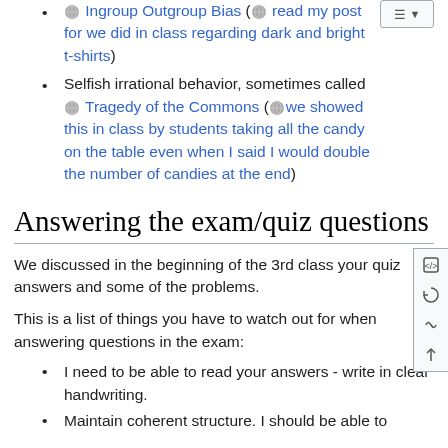🌐 Ingroup Outgroup Bias (🌐 read my post for we did in class regarding dark and bright t-shirts)
Selfish irrational behavior, sometimes called 🌐 Tragedy of the Commons (🌐 we showed this in class by students taking all the candy on the table even when I said I would double the number of candies at the end)
Answering the exam/quiz questions
We discussed in the beginning of the 3rd class your quiz answers and some of the problems.
This is a list of things you have to watch out for when answering questions in the exam:
I need to be able to read your answers - write in clear handwriting.
Maintain coherent structure. I should be able to